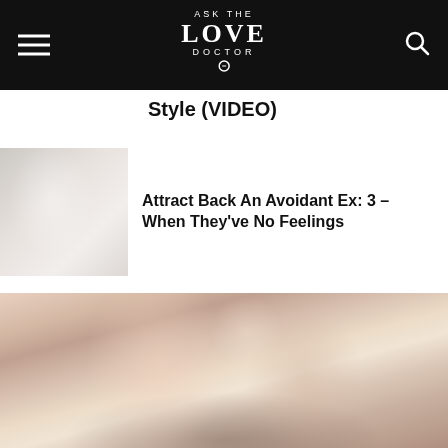ASK THE LOVE DOCTOR
Style (VIDEO)
[Figure (photo): Small thumbnail image of a person, faded/light tones]
Attract Back An Avoidant Ex: 3 – When They've No Feelings
[Figure (photo): Large photo of a woman with brown hair holding her hand to her forehead, looking distressed or pensive, in muted warm tones]